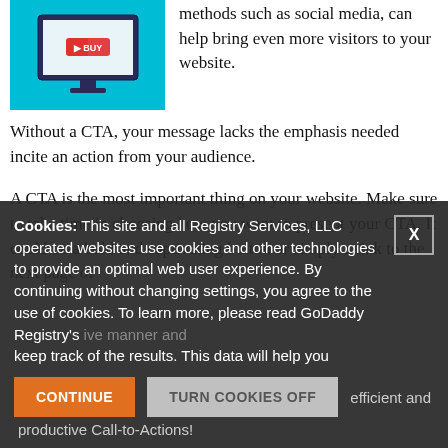[Figure (illustration): Illustration of a computer monitor with a blue/teal background showing a 'BUY' button on screen, representing an e-commerce or CTA concept.]
methods such as social media, can help bring even more visitors to your website. Without a CTA, your message lacks the emphasis needed incite an action from your audience.
A CTA is the most important thing on your website. Make sure to take time in choosing how you want to present your CTA. It could be a bold and captivating button or simply a link to the next page of
Cookies: This site and all Registry Services, LLC operated websites use cookies and other technologies to provide an optimal web user experience. By continuing without changing settings, you agree to the use of cookies. To learn more, please read GoDaddy Registry's
keep track of the results. This data will help you
efficient and productive Call-to-Actions!